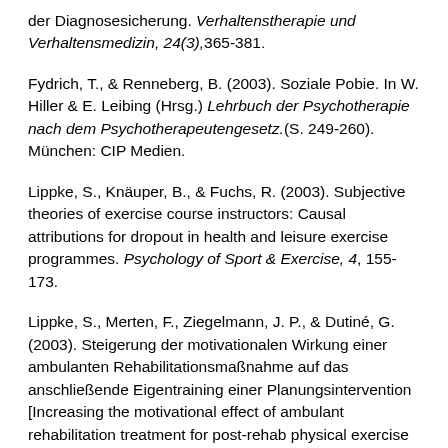der Diagnosesicherung. Verhaltenstherapie und Verhaltensmedizin, 24(3),365-381.
Fydrich, T., & Renneberg, B. (2003). Soziale Pobie. In W. Hiller & E. Leibing (Hrsg.) Lehrbuch der Psychotherapie nach dem Psychotherapeutengesetz.(S. 249-260). München: CIP Medien.
Lippke, S., Knäuper, B., & Fuchs, R. (2003). Subjective theories of exercise course instructors: Causal attributions for dropout in health and leisure exercise programmes. Psychology of Sport & Exercise, 4, 155-173.
Lippke, S., Merten, F., Ziegelmann, J. P., & Dutiné, G. (2003). Steigerung der motivationalen Wirkung einer ambulanten Rehabilitationsmaßnahme auf das anschließende Eigentraining einer Planungsintervention [Increasing the motivational effect of ambulant rehabilitation treatment for post-rehab physical exercise by means of a planning intervention]. Abschlussbe...